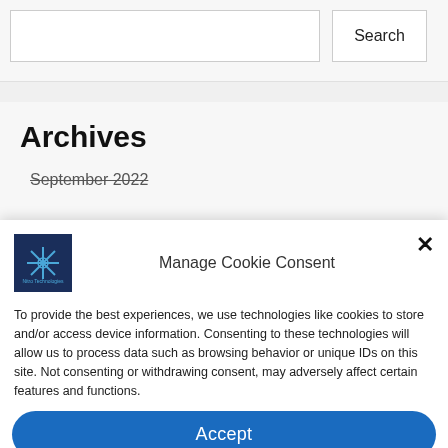Search
Archives
September 2022
Manage Cookie Consent
To provide the best experiences, we use technologies like cookies to store and/or access device information. Consenting to these technologies will allow us to process data such as browsing behavior or unique IDs on this site. Not consenting or withdrawing consent, may adversely affect certain features and functions.
Accept